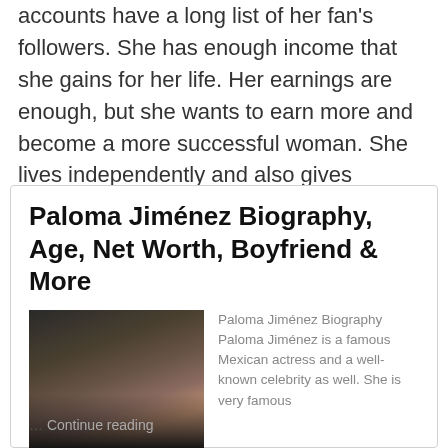accounts have a long list of her fan's followers. She has enough income that she gains for her life. Her earnings are enough, but she wants to earn more and become a more successful woman. She lives independently and also gives strength to her family.
Paloma Jiménez Biography, Age, Net Worth, Boyfriend & More
[Figure (photo): Photo of Paloma Jiménez with a man in a suit at what appears to be a public event or premiere]
Paloma Jiménez Biography Paloma Jiménez is a famous Mexican actress and a well-known celebrity as well. She is very famous … Continue reading